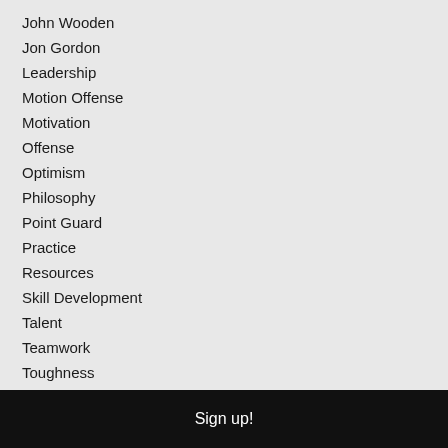John Wooden
Jon Gordon
Leadership
Motion Offense
Motivation
Offense
Optimism
Philosophy
Point Guard
Practice
Resources
Skill Development
Talent
Teamwork
Toughness
Work Ethic
Wuo Wear
Sign up!